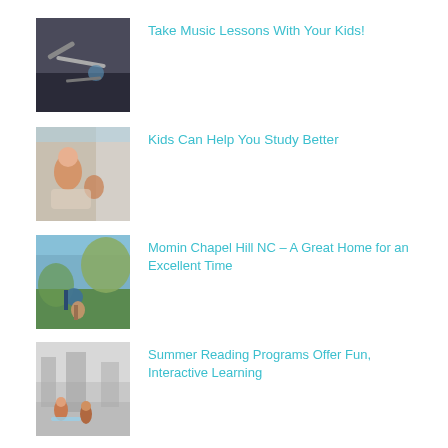[Figure (photo): Hands working with musical instrument or craft]
Take Music Lessons With Your Kids!
[Figure (photo): Young girl sitting on bed studying with a teddy bear]
Kids Can Help You Study Better
[Figure (photo): People outdoors near mountains, person in a hammock swing]
Momin Chapel Hill NC – A Great Home for an Excellent Time
[Figure (photo): Children playing on a city street]
Summer Reading Programs Offer Fun, Interactive Learning